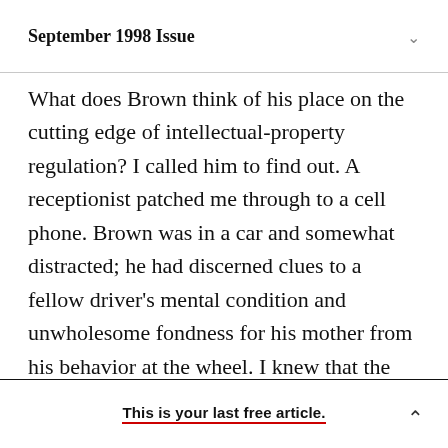September 1998 Issue
What does Brown think of his place on the cutting edge of intellectual-property regulation? I called him to find out. A receptionist patched me through to a cell phone. Brown was in a car and somewhat distracted; he had discerned clues to a fellow driver's mental condition and unwholesome fondness for his mother from his behavior at the wheel. I knew that the unlicensed copying of Brown's music had been curtailed in the aftermath
This is your last free article.